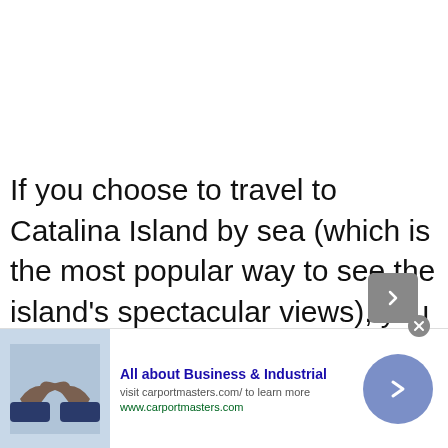If you choose to travel to Catalina Island by sea (which is the most popular way to see the island's spectacular views), you can depart from one of four major ports: San Pedro, Long Beach, Newport Beach, or
[Figure (infographic): Advertisement banner showing: image of handshake on left, text 'All about Business & Industrial' with subtitle 'visit carportmasters.com/ to learn more' and URL 'www.carportmasters.com', and a blue circular arrow button on the right. A close (X) button and a grey navigation chevron button overlay the top-right area.]